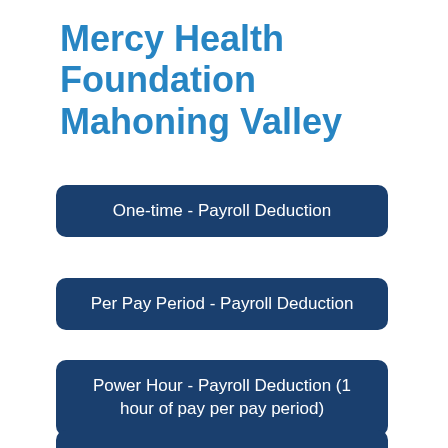Mercy Health Foundation Mahoning Valley
One-time - Payroll Deduction
Per Pay Period - Payroll Deduction
Power Hour - Payroll Deduction (1 hour of pay per pay period)